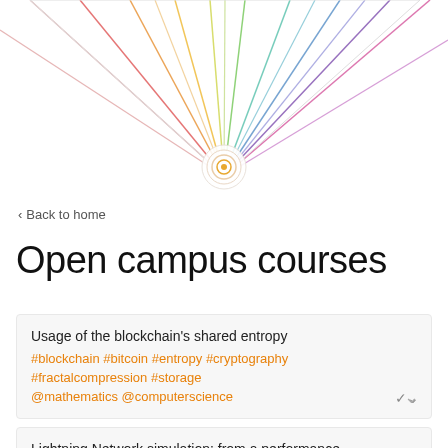[Figure (illustration): Decorative colorful diagonal lines converging to a central point with concentric circle target/bullseye icon below the apex]
‹ Back to home
Open campus courses
Usage of the blockchain's shared entropy #blockchain #bitcoin #entropy #cryptography #fractalcompression #storage @mathematics @computerscience
Lightning Network simulation: from a performance analysis to a new routing algorithm #LN #simulation #routing #networks @computerscience @mathematics
Lightning Network: privacy and partial graphs routing algorithms